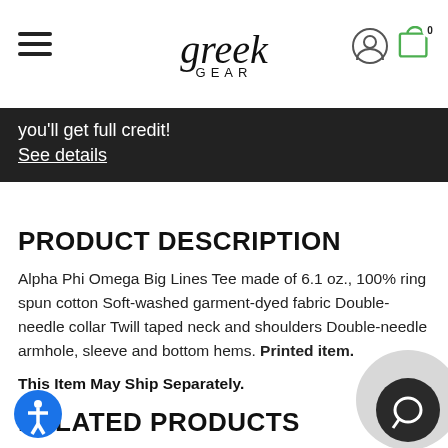greek GEAR
you'll get full credit! See details
PRODUCT DESCRIPTION
Alpha Phi Omega Big Lines Tee made of 6.1 oz., 100% ring spun cotton Soft-washed garment-dyed fabric Double-needle collar Twill taped neck and shoulders Double-needle armhole, sleeve and bottom hems. Printed item.
This Item May Ship Separately.
RELATED PRODUCTS